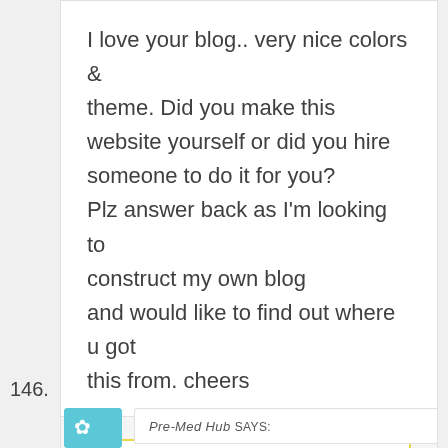I love your blog.. very nice colors & theme. Did you make this website yourself or did you hire someone to do it for you? Plz answer back as I'm looking to construct my own blog and would like to find out where u got this from. cheers
Reply
146.
Pre-Med Hub says: